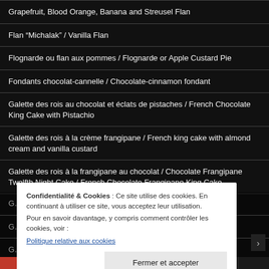Grapefruit, Blood Orange, Banana and Streusel Flan
Flan “Michalak” / Vanilla Flan
Flognarde ou flan aux pommes / Flognarde or Apple Custard Pie
Fondants chocolat-cannelle / Chocolate-cinnamon fondant
Galette des rois au chocolat et éclats de pistaches / French Chocolate King Cake with Pistachio
Galette des rois à la crème frangipane / French king cake with almond cream and vanilla custard
Galette des rois à la frangipane au chocolat / Chocolate Frangipane Twelfth Night Cake / French Chocolate Frangipane King Cake
Confidentialité & Cookies : Ce site utilise des cookies. En continuant à utiliser ce site, vous acceptez leur utilisation.
Pour en savoir davantage, y compris comment contrôler les cookies, voir :
Politique relative aux cookies
Fermer et accepter